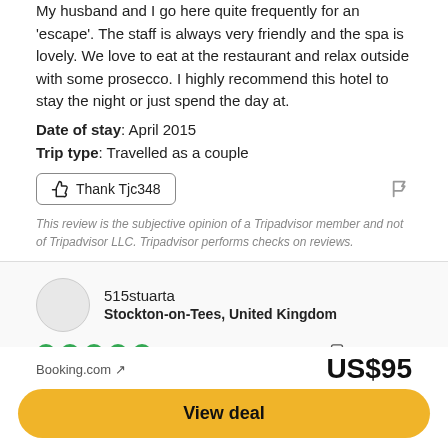My husband and I go here quite frequently for an 'escape'. The staff is always very friendly and the spa is lovely. We love to eat at the restaurant and relax outside with some prosecco. I highly recommend this hotel to stay the night or just spend the day at.
Date of stay: April 2015
Trip type: Travelled as a couple
Thank Tjc348
This review is the subjective opinion of a Tripadvisor member and not of Tripadvisor LLC. Tripadvisor performs checks on reviews.
515stuarta
Stockton-on-Tees, United Kingdom
Reviewed 15 October 2015 via mobile
Everything you need
A little bit out of the way and therefore away from the busy bustle but well worth it. The rooms are immaculate with comfy
Booking.com ↗
US$95
View deal